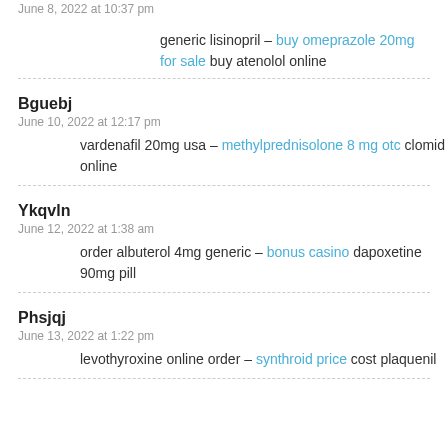June 8, 2022 at 10:37 pm
generic lisinopril – buy omeprazole 20mg for sale buy atenolol online
Bguebj
June 10, 2022 at 12:17 pm
vardenafil 20mg usa – methylprednisolone 8 mg otc clomid online
Ykqvln
June 12, 2022 at 1:38 am
order albuterol 4mg generic – bonus casino dapoxetine 90mg pill
Phsjqj
June 13, 2022 at 1:22 pm
levothyroxine online order – synthroid price cost plaquenil